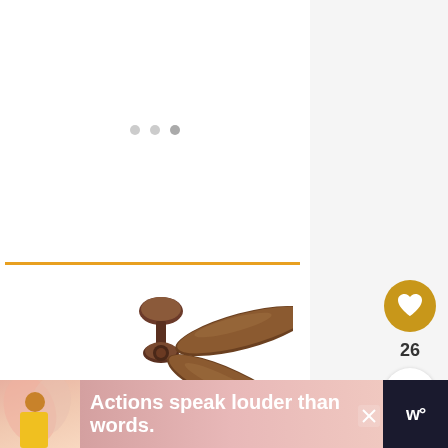[Figure (screenshot): Navigation dots / loading indicator - three small gray circles]
[Figure (photo): A ceiling fan with dark bronze/oil-rubbed finish, featuring two large wooden blades, mounted against a white ceiling background. Orange border at top of image.]
[Figure (infographic): Heart/like button (gold circle with white heart icon) with count '26' below it, and a share button (white circle with share icon)]
26
WHAT'S NEXT →
Should Ceiling Paint Be Flat...
[Figure (photo): Thumbnail image for 'Should Ceiling Paint Be Flat' article - appears to show a metallic can or paint]
Actions speak louder than words.
[Figure (logo): W° logo in white on dark background]